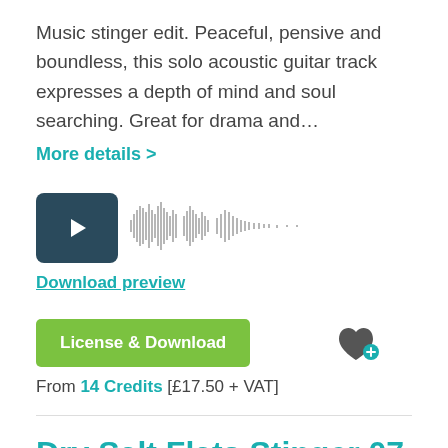Music stinger edit. Peaceful, pensive and boundless, this solo acoustic guitar track expresses a depth of mind and soul searching. Great for drama and…
More details >
[Figure (other): Audio player with play button and waveform visualization]
Download preview
License & Download
From 14 Credits [£17.50 + VAT]
Dry Salt Flats Stinger 07
Track Length: 0.09